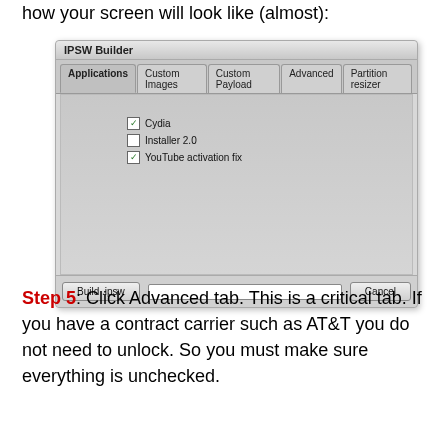how your screen will look like (almost):
[Figure (screenshot): IPSW Builder application window showing the Applications tab with checkboxes for Cydia (checked), Installer 2.0 (unchecked), and YouTube activation fix (checked). Bottom buttons: Build .ipsw, a progress bar, and Cancel.]
Step 5: Click Advanced tab. This is a critical tab. If you have a contract carrier such as AT&T you do not need to unlock. So you must make sure everything is unchecked.